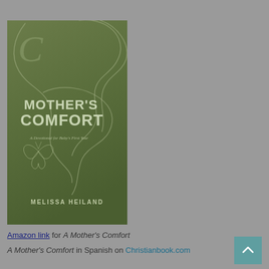[Figure (photo): Book cover of 'Mother's Comfort' by Melissa Heiland. Olive green cover with decorative swirl line art and a butterfly illustration. Text reads MOTHER'S COMFORT in large letters, with subtitle 'A Devotional for Baby's First Year' and author name MELISSA HEILAND at the bottom.]
Amazon link for A Mother's Comfort
A Mother's Comfort in Spanish on Christianbook.com